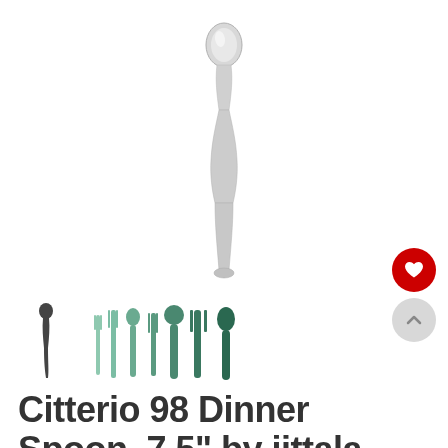[Figure (photo): A single stainless steel dinner spoon photographed vertically against a white background, showing the spoon bowl at top and handle at bottom. The design is sleek and modern with a narrow waist.]
[Figure (photo): Thumbnail image showing a single Citterio 98 dinner spoon silhouette in dark.]
[Figure (photo): Thumbnail image showing a set of Citterio 98 cutlery pieces arranged in a row, including forks and spoons.]
Citterio 98 Dinner Spoon, 7.5" by iittala